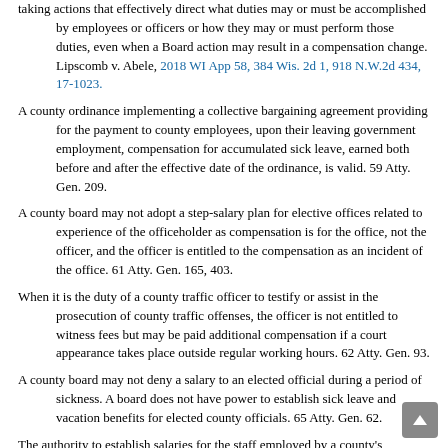taking actions that effectively direct what duties may or must be accomplished by employees or officers or how they may or must perform those duties, even when a Board action may result in a compensation change. Lipscomb v. Abele, 2018 WI App 58, 384 Wis. 2d 1, 918 N.W.2d 434, 17-1023.
A county ordinance implementing a collective bargaining agreement providing for the payment to county employees, upon their leaving government employment, compensation for accumulated sick leave, earned both before and after the effective date of the ordinance, is valid. 59 Atty. Gen. 209.
A county board may not adopt a step-salary plan for elective offices related to experience of the officeholder as compensation is for the office, not the officer, and the officer is entitled to the compensation as an incident of the office. 61 Atty. Gen. 165, 403.
When it is the duty of a county traffic officer to testify or assist in the prosecution of county traffic offenses, the officer is not entitled to witness fees but may be paid additional compensation if a court appearance takes place outside regular working hours. 62 Atty. Gen. 93.
A county board may not deny a salary to an elected official during a period of sickness. A board does not have power to establish sick leave and vacation benefits for elected county officials. 65 Atty. Gen. 62.
The authority to establish salaries for the staff employed by a county's 51.42/51.437 board lies with that board, subject to the general budgetary control of the county board. 65 Atty. Gen. 105.
Discretionary authority to grant increases to elected county officials based upon performance or length of service may not be delegated to a committee of the county board by the board itself. If delegated...